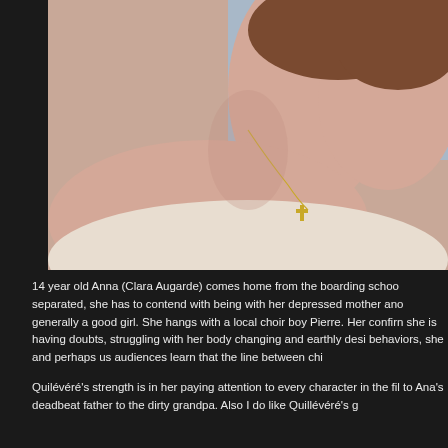[Figure (photo): Close-up profile photo of a young girl with short brown hair, looking downward, wearing a gold cross necklace against a light blue background. The cross pendant is visible on her upper back/neck area.]
14 year old Anna (Clara Augarde) comes home from the boarding school separated, she has to contend with being with her depressed mother and generally a good girl. She hangs with a local choir boy Pierre. Her confirmation she is having doubts, struggling with her body changing and earthly desires behaviors, she and perhaps us audiences learn that the line between chi...
Quilévéré's strength is in her paying attention to every character in the film to Ana's deadbeat father to the dirty grandpa. Also I do like Quillévéré's g...